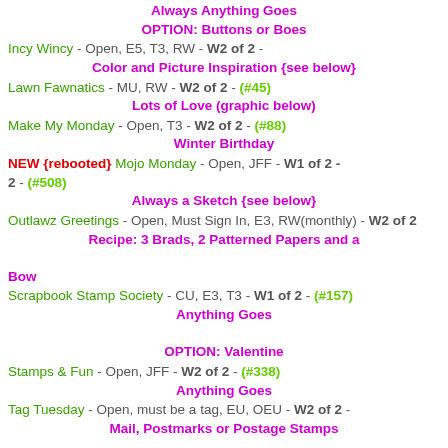Always Anything Goes OPTION: Buttons or Boes
Incy Wincy - Open, E5, T3, RW - W2 of 2 - Color and Picture Inspiration {see below}
Lawn Fawnatics - MU, RW - W2 of 2 - (#45) Lots of Love (graphic below)
Make My Monday - Open, T3 - W2 of 2 - (#88) Winter Birthday
NEW {rebooted} Mojo Monday - Open, JFF - W1 of 2 - (#508) Always a Sketch {see below}
Outlawz Greetings - Open, Must Sign In, E3, RW(monthly) - W2 of 2 Recipe: 3 Brads, 2 Patterned Papers and a Bow
Scrapbook Stamp Society - CU, E3, T3 - W1 of 2 - (#157) Anything Goes OPTION: Valentine
Stamps & Fun - Open, JFF - W2 of 2 - (#338) Anything Goes
Tag Tuesday - Open, must be a tag, EU, OEU - W2 of 2 - Mail, Postmarks or Postage Stamps